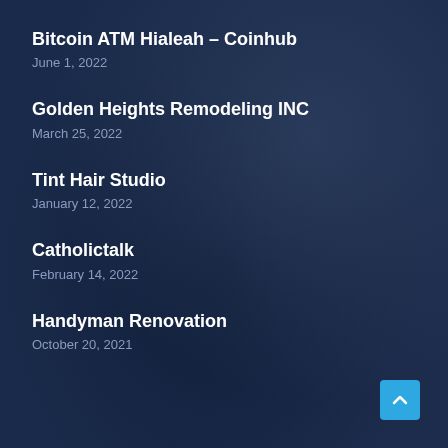Bitcoin ATM Hialeah – Coinhub
June 1, 2022
Golden Heights Remodeling INC
March 25, 2022
Tint Hair Studio
January 12, 2022
Catholictalk
February 14, 2022
Handyman Renovation
October 20, 2021